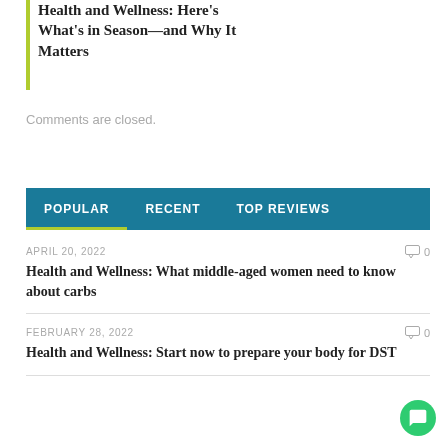Health and Wellness: Here's What's in Season—and Why It Matters
Comments are closed.
POPULAR   RECENT   TOP REVIEWS
APRIL 20, 2022
Health and Wellness: What middle-aged women need to know about carbs
FEBRUARY 28, 2022
Health and Wellness: Start now to prepare your body for DST